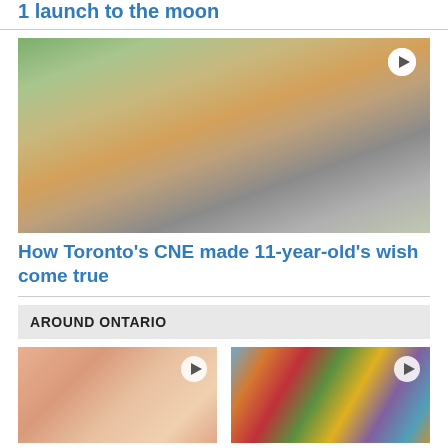1 launch to the moon
[Figure (photo): A young boy wearing a baseball cap and Nike shirt holding a stuffed lion teddy bear at the CNE, with Mr. Freeze booth visible in background]
How Toronto's CNE made 11-year-old's wish come true
AROUND ONTARIO
[Figure (photo): Close-up of a baby's face, infant lying down]
Tiny Tim is coming to Canada
[Figure (photo): A large colorful ball made of corking/yarn craft in various colors, with a washing machine visible in the background]
Unique corking hobby 7 years in the making